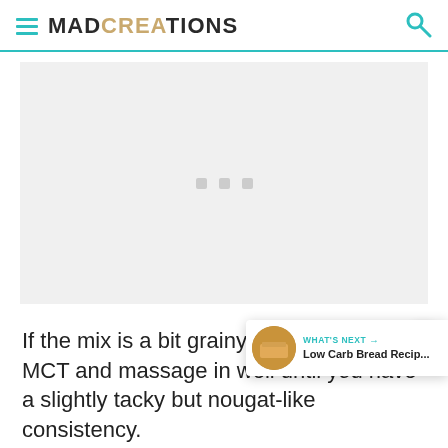MAD CREATIONS
[Figure (other): Ad placeholder box with three grey dots in the center]
If the mix is a bit grainy add a little more MCT and massage in well until you have a slightly tacky but nougat-like consistency.
When the mix is not grainy and has a firm...